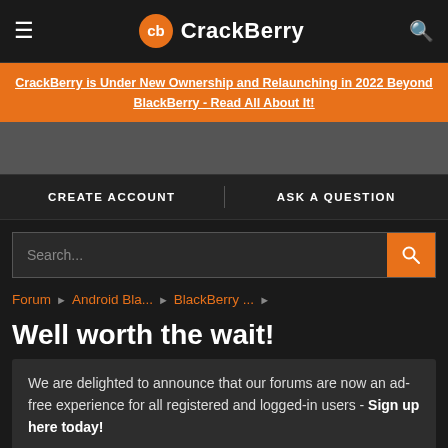CrackBerry
CrackBerry is Under New Ownership and Relaunching in 2022 Beyond BlackBerry - Read All About It!
CREATE ACCOUNT   ASK A QUESTION
Search...
Forum › Android Bla... › BlackBerry ... ›
Well worth the wait!
We are delighted to announce that our forums are now an ad-free experience for all registered and logged-in users - Sign up here today!